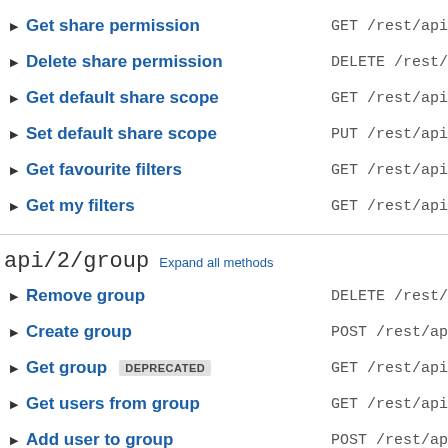▶ Get share permission   GET /rest/api
▶ Delete share permission   DELETE /rest/
▶ Get default share scope   GET /rest/api
▶ Set default share scope   PUT /rest/api
▶ Get favourite filters   GET /rest/api
▶ Get my filters   GET /rest/api
api/2/group   Expand all methods
▶ Remove group   DELETE /rest/
▶ Create group   POST /rest/ap
▶ Get group DEPRECATED   GET /rest/api
▶ Get users from group   GET /rest/api
▶ Add user to group   POST /rest/ap